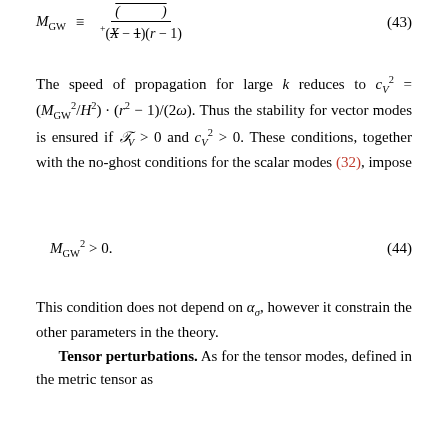The speed of propagation for large k reduces to c²_V = (M²_GW/H²)·(r² − 1)/(2ω). Thus the stability for vector modes is ensured if T_V > 0 and c²_V > 0. These conditions, together with the no-ghost conditions for the scalar modes (32), impose
This condition does not depend on α_σ, however it constrain the other parameters in the theory. Tensor perturbations. As for the tensor modes, defined in the metric tensor as